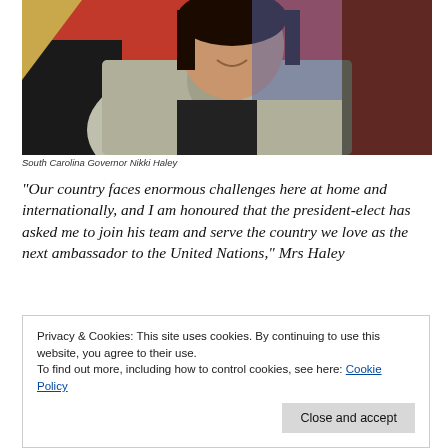[Figure (photo): South Carolina Governor Nikki Haley seated and smiling, wearing a tweed jacket with a scarf, against a red background]
South Carolina Governor Nikki Haley
“Our country faces enormous challenges here at home and internationally, and I am honoured that the president-elect has asked me to join his team and serve the country we love as the next ambassador to the United Nations,” Mrs Haley
Privacy & Cookies: This site uses cookies. By continuing to use this website, you agree to their use.
To find out more, including how to control cookies, see here: Cookie Policy